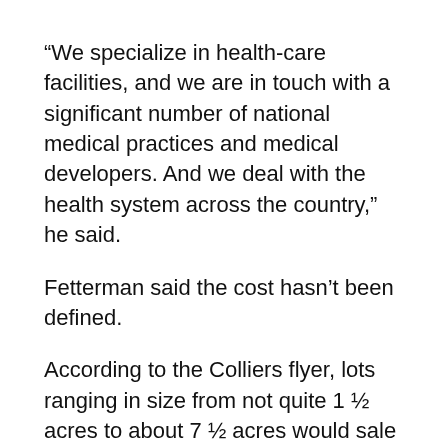“We specialize in health-care facilities, and we are in touch with a significant number of national medical practices and medical developers. And we deal with the health system across the country,” he said.
Fetterman said the cost hasn’t been defined.
According to the Colliers flyer, lots ranging in size from not quite 1 ½ acres to about 7 ½ acres would sale for $13-$23 per square foot. About 24 acres near the Westside and Unser boulevards intersection will be available for retail. Another 33.6 acres will be available for medical-related practices.
The developers don’t yet have a timeline for construction. Health and wellness is a driving force in Rio Rancho with Rust and